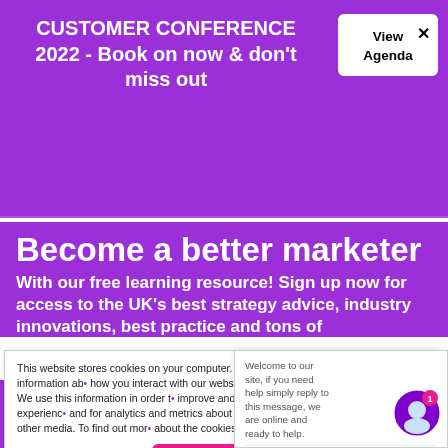CUSTOMER CONFERENCE 2022 - Book on now & don't miss out
Become a better marketer
With our free learning resource! Sign up now for access to the UK's best strategy advice, industry innovations, best practice and tons of actionable insights to help you stay ahead
This website stores cookies on your computer. These cookies are used to collect information about how you interact with our website and allow us to remember you. We use this information in order to improve and customise your browsing experience and for analytics and metrics about our visitors both on this website and other media. To find out more about the cookies we use, see our Privacy Policy
Welcome to our site, if you need help simply reply to this message, we are online and ready to help.
Accept
View Agenda